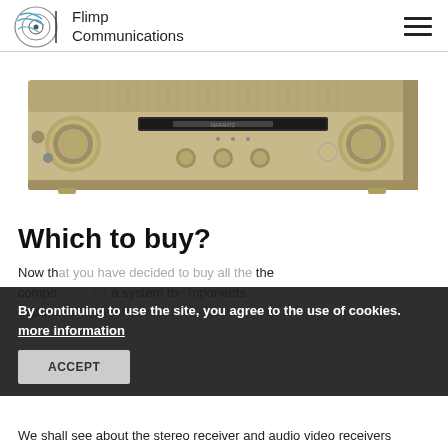Flimp Communications
[Figure (photo): Marantz stereo amplifier/integrated amplifier, gold/champagne color, front panel view showing volume knobs, selector knobs, and display]
Which to buy?
Now that you have decided to buy all the components for a system the components separately — known as separates.
By continuing to use the site, you agree to the use of cookies. more information  ACCEPT
We shall see about the stereo receiver and audio video receivers